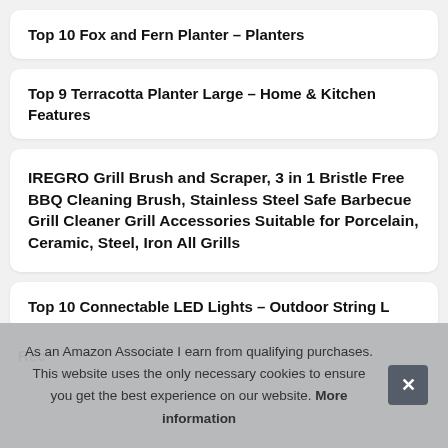Top 10 Fox and Fern Planter – Planters
Top 9 Terracotta Planter Large – Home & Kitchen Features
IREGRO Grill Brush and Scraper, 3 in 1 Bristle Free BBQ Cleaning Brush, Stainless Steel Safe Barbecue Grill Cleaner Grill Accessories Suitable for Porcelain, Ceramic, Steel, Iron All Grills
Top 10 Connectable LED Lights – Outdoor String L
Rec
As an Amazon Associate I earn from qualifying purchases. This website uses the only necessary cookies to ensure you get the best experience on our website. More information